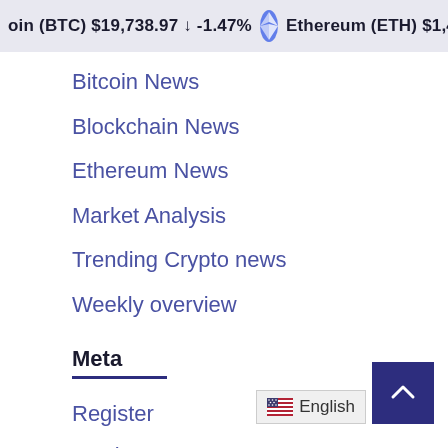Bitcoin (BTC) $19,738.97 ↓ -1.47% Ethereum (ETH) $1,453.64
Bitcoin News
Blockchain News
Ethereum News
Market Analysis
Trending Crypto news
Weekly overview
Meta
Register
Log in
Entries feed
Comments feed